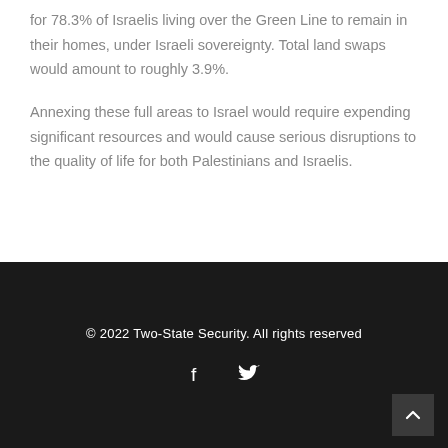for 78.3% of Israelis living over the Green Line to remain in their homes, under Israeli sovereignty. Total land swaps would amount to roughly 3.9%.
Annexing these full areas to Israel would require expending significant resources and would cause serious disruptions to the quality of life for both Palestinians and Israelis.
© 2022 Two-State Security. All rights reserved